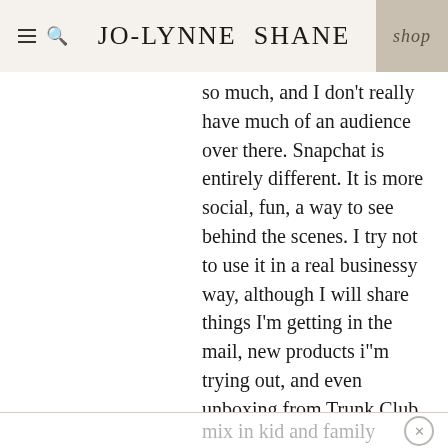JO-LYNNE SHANE | shop
so much, and I don't really have much of an audience over there. Snapchat is entirely different. It is more social, fun, a way to see behind the scenes. I try not to use it in a real businessy way, although I will share things I'm getting in the mail, new products i"m trying out, and even unboxing from Trunk Club or Stitch Fix. But i try to mix in kid and family stuff too. It's really fun, but definitely a